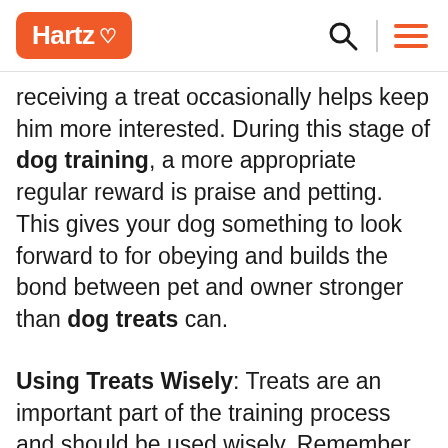Hartz [logo]
receiving a treat occasionally helps keep him more interested. During this stage of dog training, a more appropriate regular reward is praise and petting. This gives your dog something to look forward to for obeying and builds the bond between pet and owner stronger than dog treats can.
Using Treats Wisely: Treats are an important part of the training process and should be used wisely. Remember to always use specially made dog treats and not human food or table scraps. These alternatives are unhealthy for dogs and lack the nutrients that specially made dog snacks do. Also, remember that treats aren't substitutes for meals. They should...